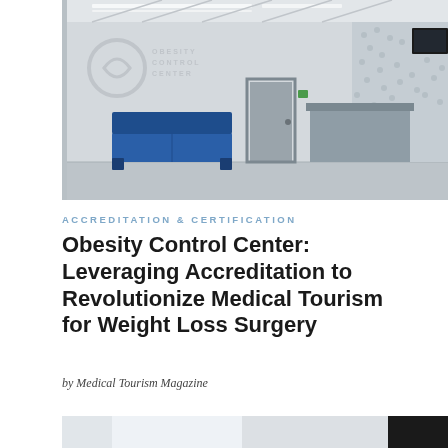[Figure (photo): Interior of the Obesity Control Center lobby/reception area with blue sofa seating, reception desk, and branded wall logo]
ACCREDITATION & CERTIFICATION
Obesity Control Center: Leveraging Accreditation to Revolutionize Medical Tourism for Weight Loss Surgery
by Medical Tourism Magazine
[Figure (photo): Person wearing a VR headset, shown from shoulders up in a bright room with a dark panel on the right side]